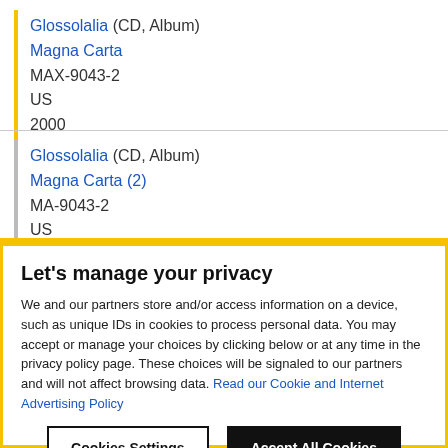Glossolalia (CD, Album)
Magna Carta
MAX-9043-2
US
2000
Glossolalia (CD, Album)
Magna Carta (2)
MA-9043-2
US
2000
Let's manage your privacy
We and our partners store and/or access information on a device, such as unique IDs in cookies to process personal data. You may accept or manage your choices by clicking below or at any time in the privacy policy page. These choices will be signaled to our partners and will not affect browsing data. Read our Cookie and Internet Advertising Policy